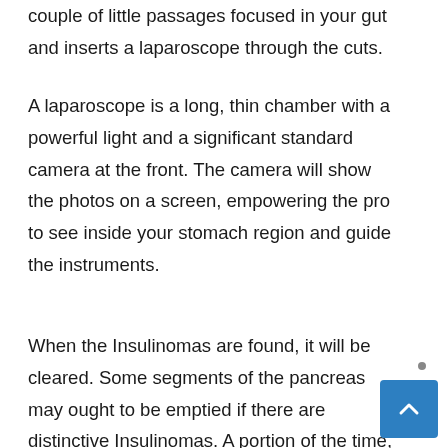couple of little passages focused in your gut and inserts a laparoscope through the cuts.
A laparoscope is a long, thin chamber with a powerful light and a significant standard camera at the front. The camera will show the photos on a screen, empowering the pro to see inside your stomach region and guide the instruments.
When the Insulinomas are found, it will be cleared. Some segments of the pancreas may ought to be emptied if there are distinctive Insulinomas. A portion of the time, some